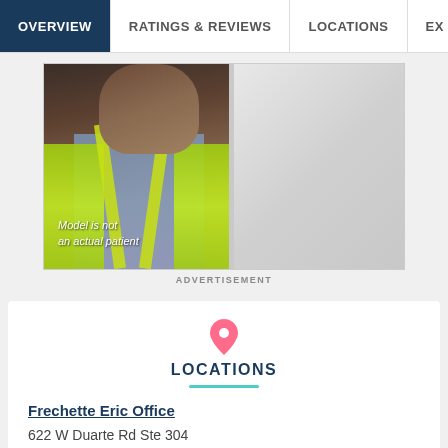OVERVIEW | RATINGS & REVIEWS | LOCATIONS | EX
[Figure (photo): Man wearing yellow safety vest with text overlay 'Model is not an actual patient']
ADVERTISEMENT
LOCATIONS
Frechette Eric Office
622 W Duarte Rd Ste 304
Arcadia, CA, 91007